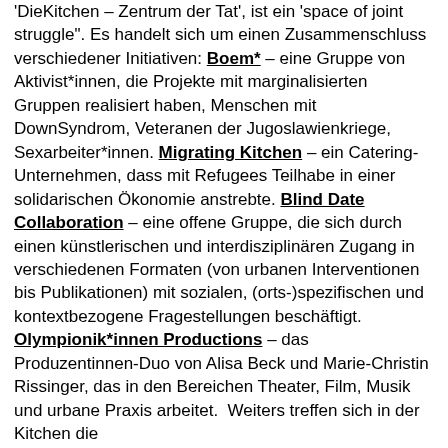'DieKitchen – Zentrum der Tat', ist ein 'space of joint struggle". Es handelt sich um einen Zusammenschluss verschiedener Initiativen: Boem* – eine Gruppe von Aktivist*innen, die Projekte mit marginalisierten Gruppen realisiert haben, Menschen mit DownSyndrom, Veteranen der Jugoslawienkriege, Sexarbeiter*innen. Migrating Kitchen – ein Catering-Unternehmen, dass mit Refugees Teilhabe in einer solidarischen Ökonomie anstrebte. Blind Date Collaboration – eine offene Gruppe, die sich durch einen künstlerischen und interdisziplinären Zugang in verschiedenen Formaten (von urbanen Interventionen bis Publikationen) mit sozialen, (orts-)spezifischen und kontextbezogene Fragestellungen beschäftigt. Olympionik*innen Productions – das Produzentinnen-Duo von Alisa Beck und Marie-Christin Rissinger, das in den Bereichen Theater, Film, Musik und urbane Praxis arbeitet.  Weiters treffen sich in der Kitchen die Gefangenenwerkschaft – eine Solidaritätsgruppe